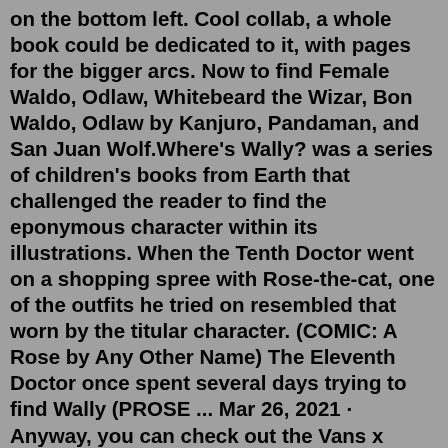on the bottom left. Cool collab, a whole book could be dedicated to it, with pages for the bigger arcs. Now to find Female Waldo, Odlaw, Whitebeard the Wizar, Bon Waldo, Odlaw by Kanjuro, Pandaman, and San Juan Wolf.Where's Wally? was a series of children's books from Earth that challenged the reader to find the eponymous character within its illustrations. When the Tenth Doctor went on a shopping spree with Rose-the-cat, one of the outfits he tried on resembled that worn by the titular character. (COMIC: A Rose by Any Other Name) The Eleventh Doctor once spent several days trying to find Wally (PROSE ... Mar 26, 2021 · Anyway, you can check out the Vans x Where's Wally range below. Where's Wally Vans Classic Slip-on, $139.99. Where's Wally Odlaw Vans Sk8-Hi, $159.99. Where's Wally Vans Old Skool, $149.99 ... Woof (voiced by David Workman) - Woof is Wally's dog and good friend. Woof originally belonged to Wilma, but over the years became Waldo's dog. Woof comes from the Land of Woofs, which is a land full of dogs like him. Like his owner...